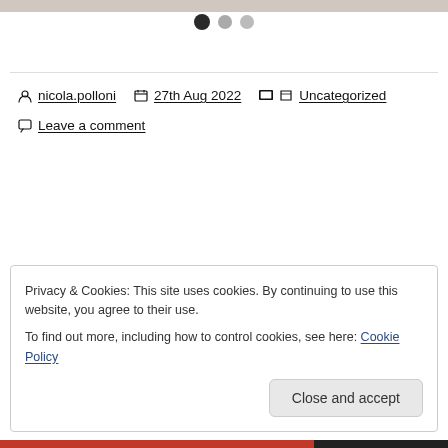[Figure (photo): Partial image strip at top of page]
[Figure (other): Three navigation dots: one dark/filled, two lighter/unfilled]
nicola.polloni   27th Aug 2022   Uncategorized
Leave a comment
Privacy & Cookies: This site uses cookies. By continuing to use this website, you agree to their use.
To find out more, including how to control cookies, see here: Cookie Policy
Close and accept